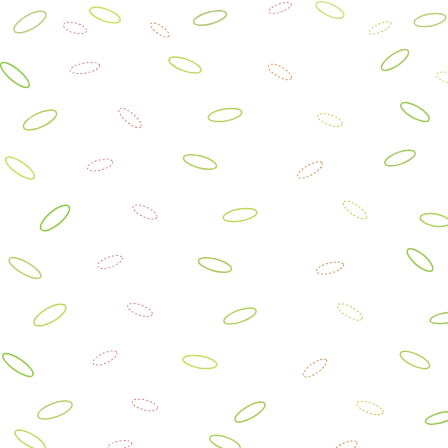[Figure (illustration): Background pattern of colorful leaf/seed sketches scattered across white background in green, red, orange, yellow colors]
STATE OF CONFU...
TIM ZAINER'S SID...
LOIRE VALLEY CA...
CALIFORNIA SYR...
2002 CALIFORNIA...
VINO FINO HOLID...
CHARDONNAYS O...
SPANISH TEMPRA...
2002 CENTRAL C...
AUSSIE SHIRAZ-O...
GEWÜRZTRAMÍN...
2001 SOUTHERN ... June 2004
AGLIANICO WINE... 2004...